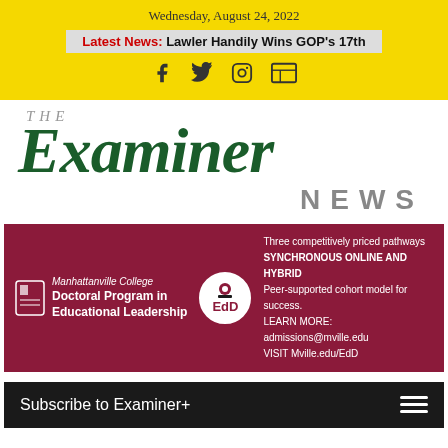Wednesday, August 24, 2022
Latest News: Lawler Handily Wins GOP's 17th
[Figure (logo): Social media icons: Facebook, Twitter, Instagram, News]
[Figure (logo): The Examiner News masthead logo in dark green and gray]
[Figure (infographic): Manhattanville College Doctoral Program in Educational Leadership advertisement banner. EdD circle logo. Three competitively priced pathways. SYNCHRONOUS ONLINE AND HYBRID. Peer-supported cohort model for success. LEARN MORE: admissions@mville.edu VISIT Mville.edu/EdD]
Subscribe to Examiner+
The Northern Westchester Examiner